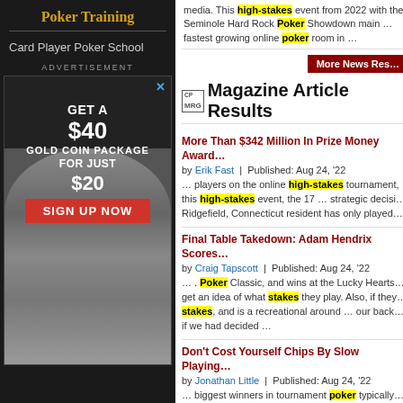Poker Training
Card Player Poker School
[Figure (infographic): Advertisement: Get a $40 Gold Coin Package for just $20. Sign up now. Features a man smiling broadly.]
media. This high-stakes event from 2022 with the Seminole Hard Rock Poker Showdown main … fastest growing online poker room in …
More News Results
Magazine Article Results
More Than $342 Million In Prize Money Award...
by Erik Fast | Published: Aug 24, '22
… players on the online high-stakes tournament, this high-stakes event, the 17 … strategic decision Ridgefield, Connecticut resident has only played
Final Table Takedown: Adam Hendrix Scores...
by Craig Tapscott | Published: Aug 24, '22
… . Poker Classic, and wins at the Lucky Hearts get an idea of what stakes they play. Also, if they stakes, and is a recreational around … our back if we had decided …
Don't Cost Yourself Chips By Slow Playing
by Jonathan Little | Published: Aug 24, '22
… biggest winners in tournament poker typically middle- and high-stakes games, this player was and 2019 GPI Poker Personality of the Year. If ye